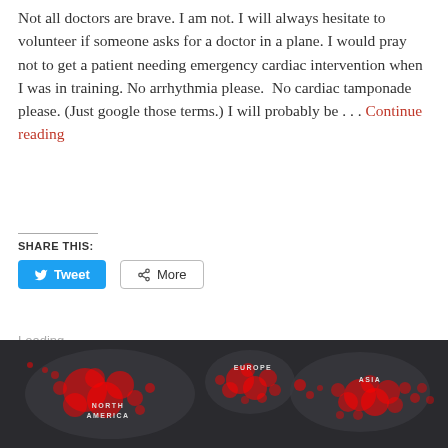Not all doctors are brave. I am not. I will always hesitate to volunteer if someone asks for a doctor in a plane. I would pray not to get a patient needing emergency cardiac intervention when I was in training. No arrhythmia please.  No cardiac tamponade please. (Just google those terms.) I will probably be . . . Continue reading
SHARE THIS:
Tweet | More
Loading...
[Figure (map): Dark world map showing red circular markers indicating data points concentrated over North America, Europe, and Asia regions]